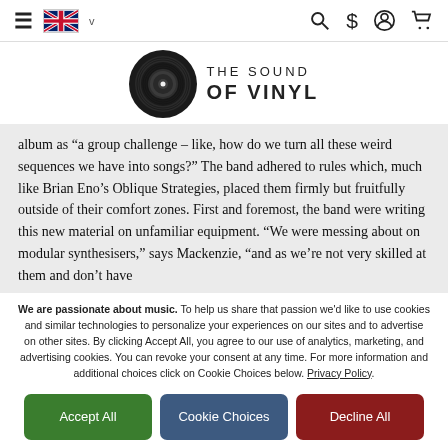THE SOUND OF VINYL - navigation bar with hamburger menu, UK flag, search, dollar, user, cart icons
[Figure (logo): The Sound of Vinyl logo: vinyl record disc graphic with THE SOUND OF VINYL text]
album as “a group challenge – like, how do we turn all these weird sequences we have into songs?” The band adhered to rules which, much like Brian Eno’s Oblique Strategies, placed them firmly but fruitfully outside of their comfort zones. First and foremost, the band were writing this new material on unfamiliar equipment. “We were messing about on modular synthesisers,” says Mackenzie, “and as we’re not very skilled at them and don’t have
We are passionate about music. To help us share that passion we'd like to use cookies and similar technologies to personalize your experiences on our sites and to advertise on other sites. By clicking Accept All, you agree to our use of analytics, marketing, and advertising cookies. You can revoke your consent at any time. For more information and additional choices click on Cookie Choices below. Privacy Policy.
Accept All
Cookie Choices
Decline All